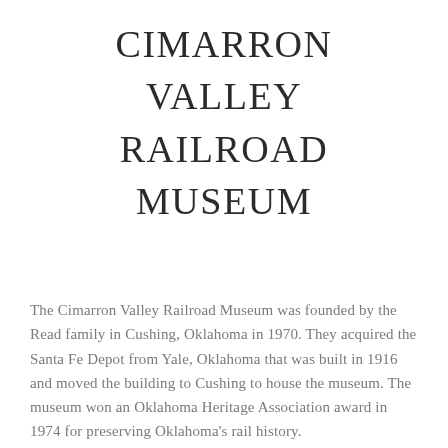CIMARRON VALLEY RAILROAD MUSEUM
The Cimarron Valley Railroad Museum was founded by the Read family in Cushing, Oklahoma in 1970. They acquired the Santa Fe Depot from Yale, Oklahoma that was built in 1916 and moved the building to Cushing to house the museum. The museum won an Oklahoma Heritage Association award in 1974 for preserving Oklahoma's rail history.